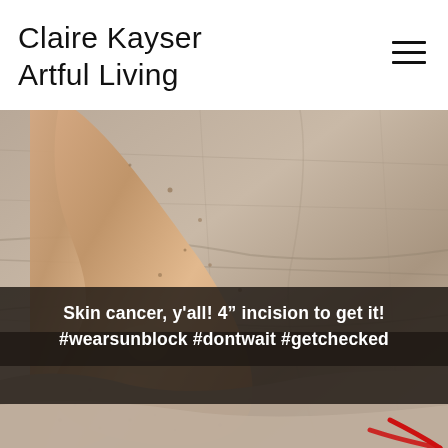Claire Kayser Artful Living
[Figure (photo): Close-up photo of a human ankle/foot resting on light beige/grey fabric or linen, showing skin with some freckles/spots. A dark overlay bar across the lower portion contains white text. A red curved line is visible in the bottom-right corner of the image.]
Skin cancer, y'all! 4" incision to get it! #wearsunblock #dontwait #getchecked